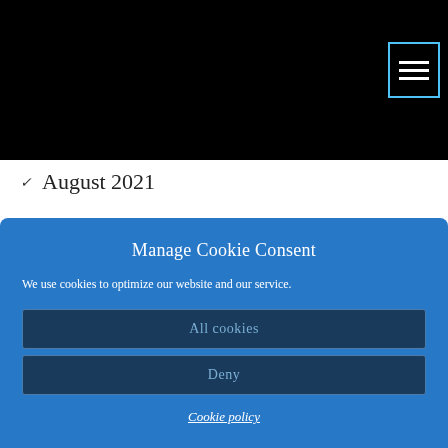August 2021
July 2021
June 2021
May 2021
April 2021
Manage Cookie Consent
We use cookies to optimize our website and our service.
All cookies
Deny
Cookie policy